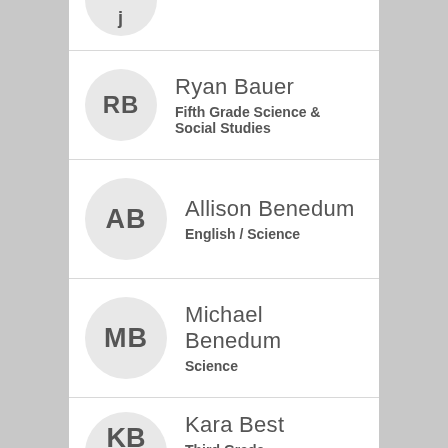Ryan Bauer — Fifth Grade Science & Social Studies
Allison Benedum — English / Science
Michael Benedum — Science
Kara Best — Third Grade